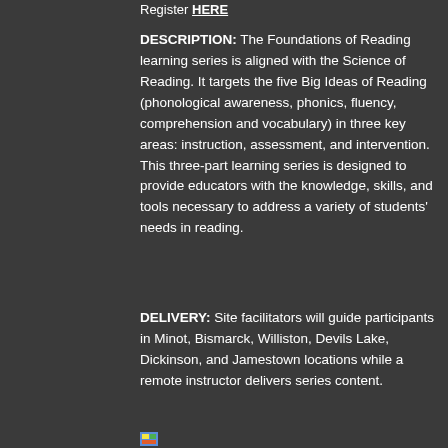Register HERE
DESCRIPTION: The Foundations of Reading learning series is aligned with the Science of Reading. It targets the five Big Ideas of Reading (phonological awareness, phonics, fluency, comprehension and vocabulary) in three key areas: instruction, assessment, and intervention. This three-part learning series is designed to provide educators with the knowledge, skills, and tools necessary to address a variety of students' needs in reading.
DELIVERY: Site facilitators will guide participants in Minot, Bismarck, Williston, Devils Lake, Dickinson, and Jamestown locations while a remote instructor delivers series content.